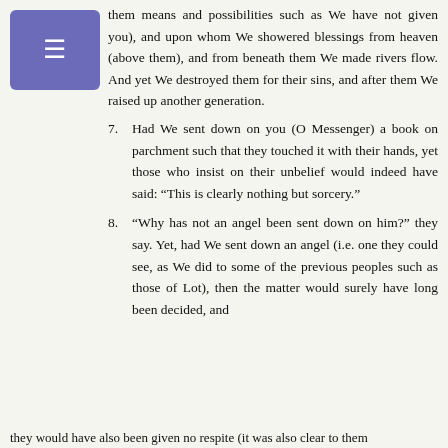[Figure (other): Purple/indigo hamburger menu button icon]
them means and possibilities such as We have not given you), and upon whom We showered blessings from heaven (above them), and from beneath them We made rivers flow. And yet We destroyed them for their sins, and after them We raised up another generation.
7. Had We sent down on you (O Messenger) a book on parchment such that they touched it with their hands, yet those who insist on their unbelief would indeed have said: “This is clearly nothing but sorcery.”
8. “Why has not an angel been sent down on him?” they say. Yet, had We sent down an angel (i.e. one they could see, as We did to some of the previous peoples such as those of Lot), then the matter would surely have long been decided, and
they would have also been given no respite (it was also clear to them